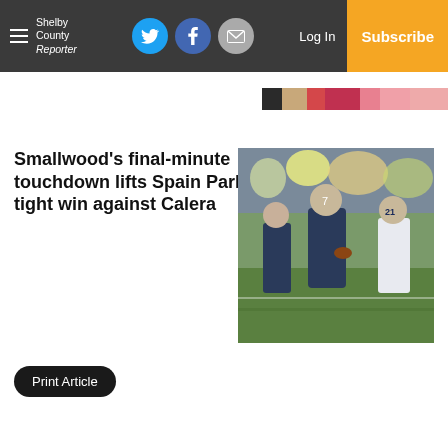Shelby County Reporter — navigation bar with hamburger menu, social icons (Twitter, Facebook, Email), Log In, Subscribe
[Figure (photo): Partial banner/strip image at top right — appears to be a colorful cropped image]
Smallwood's final-minute touchdown lifts Spain Park to tight win against Calera
[Figure (photo): Football game action photo showing players in navy blue uniforms on the field with a crowd in the background, number 21 visible on a white-uniformed player]
Print Article